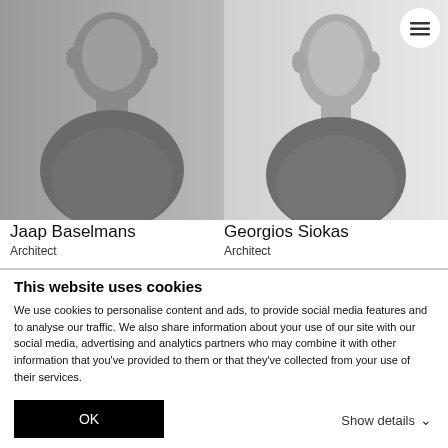[Figure (photo): Grayscale photo of Jaap Baselmans, a man in a dark sweater against a gray background]
[Figure (photo): Grayscale photo of Georgios Siokas, a man in a dark sweater against a light background]
Jaap Baselmans
Architect
Georgios Siokas
Architect
This website uses cookies
We use cookies to personalise content and ads, to provide social media features and to analyse our traffic. We also share information about your use of our site with our social media, advertising and analytics partners who may combine it with other information that you've provided to them or that they've collected from your use of their services.
OK
Show details